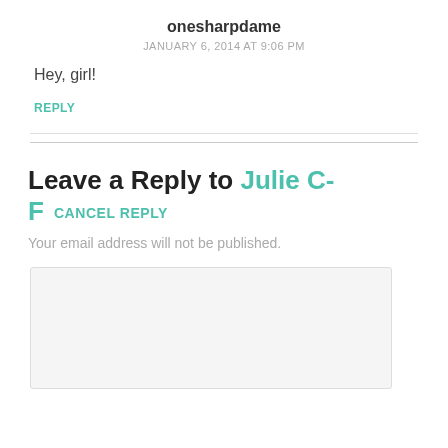onesharpdame
JANUARY 6, 2014 AT 9:06 PM
Hey, girl!
REPLY
Leave a Reply to Julie C-F  CANCEL REPLY
Your email address will not be published.